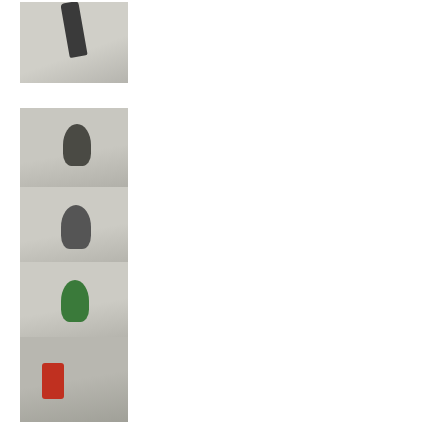[Figure (photo): Skateboarding trick, person airborne above light gray concrete floor, viewed from low angle]
[Figure (photo): Skateboarder and spectators in background on light gray floor of indoor skate park]
[Figure (photo): Skateboarder performing trick on light gray floor, crowd visible in background of indoor skate park]
[Figure (photo): Person in green shirt skateboarding on light gray floor of indoor skate park]
[Figure (photo): Indoor skate park with red object visible, person performing trick, structural beams visible overhead]
[Figure (photo): Indoor skate park with dark ramp, person in green near ramp, another figure nearby]
[Figure (photo): Skateboarder in green near ground on light gray floor of indoor skate park]